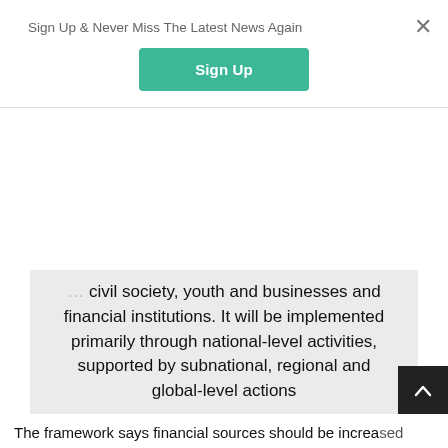Sign Up & Never Miss The Latest News Again
Sign Up
civil society, youth and businesses and financial institutions. It will be implemented primarily through national-level activities, supported by subnational, regional and global-level actions
Elizabeth Maruma Mrema, executive secretary of CBD
The framework says financial sources should be increased